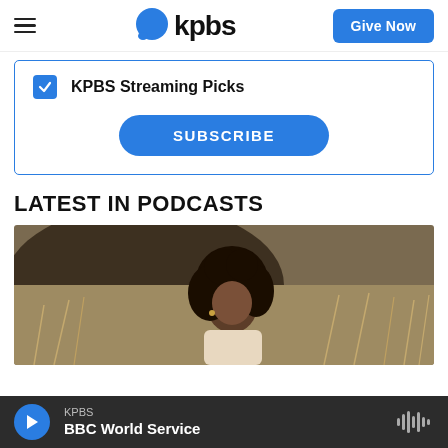KPBS — Give Now
KPBS Streaming Picks
SUBSCRIBE
LATEST IN PODCASTS
[Figure (photo): A woman with curly hair sitting outdoors in dry brush/grassland, looking at camera]
KPBS — BBC World Service (audio player)